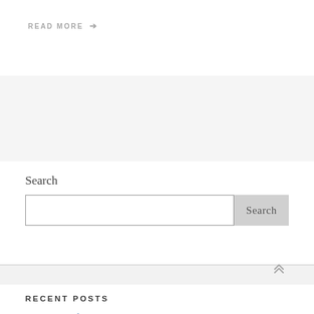READ MORE →
Search
RECENT POSTS
Hiring a Professional SEO Company
August 16, 2022